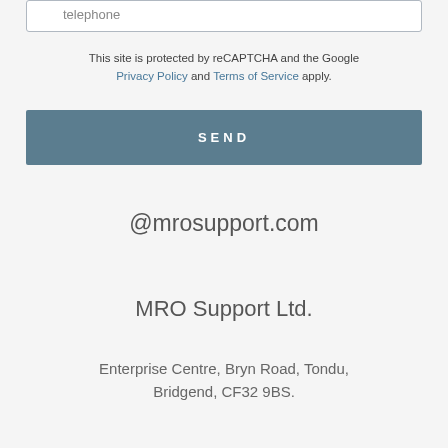telephone
This site is protected by reCAPTCHA and the Google Privacy Policy and Terms of Service apply.
SEND
@mrosupport.com
MRO Support Ltd.
Enterprise Centre, Bryn Road, Tondu, Bridgend, CF32 9BS.